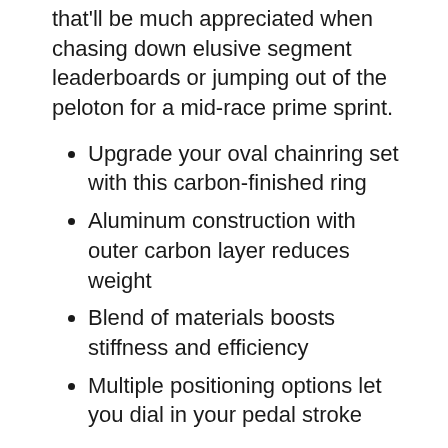that'll be much appreciated when chasing down elusive segment leaderboards or jumping out of the peloton for a mid-race prime sprint.
Upgrade your oval chainring set with this carbon-finished ring
Aluminum construction with outer carbon layer reduces weight
Blend of materials boosts stiffness and efficiency
Multiple positioning options let you dial in your pedal stroke
SPECIFICATIONS
Q53T
Bolt Circle: 110mm
Colour: Black
7075-T6 aluminum with 3k carbon fiber finish
RECOMMENDATIONS